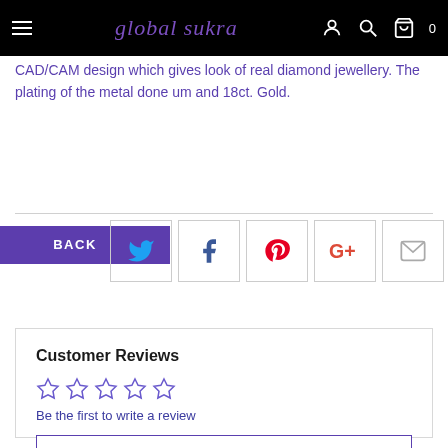global sukra — navigation bar with hamburger menu, logo, user icon, search icon, cart (0)
CAD/CAM design which gives look of real diamond jewellery. The plating of the metal done um and 18ct. Gold.
[Figure (screenshot): BACK button overlay in purple]
[Figure (infographic): Social sharing icons row: Twitter (blue bird), Facebook (dark f), Pinterest (red P), Google+ (red G+), Email (grey envelope)]
Customer Reviews
[Figure (other): Five empty star rating icons in purple outline]
Be the first to write a review
Write a review